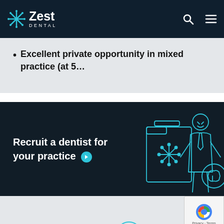Zest Dental
Excellent private opportunity in mixed practice (at 5...
[Figure (illustration): Dark navy banner with white bold text 'Recruit a dentist for your practice' with a cyan arrow button, and a cyan line-art illustration of a suited professional standing next to a large folder with a Zest snowflake logo and a dental tooth coin icon]
[Figure (illustration): Partial bottom section showing light grey background with a partial illustration of figures at the bottom of the page]